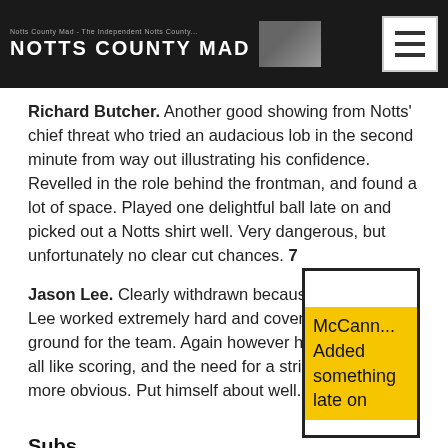NOTTS COUNTY MAD
Richard Butcher. Another good showing from Notts' chief threat who tried an audacious lob in the second minute from way out illustrating his confidence. Revelled in the role behind the frontman, and found a lot of space. Played one delightful ball late on and picked out a Notts shirt well. Very dangerous, but unfortunately no clear cut chances. 7
[Figure (other): Yellow highlighted sidebar box with text: McCann... Added something late on]
Jason Lee. Clearly withdrawn because he was tired, Lee worked extremely hard and covered a lot of ground for the team. Again however he did not look at all like scoring, and the need for a striker is even more obvious. Put himself about well. 6
Subs